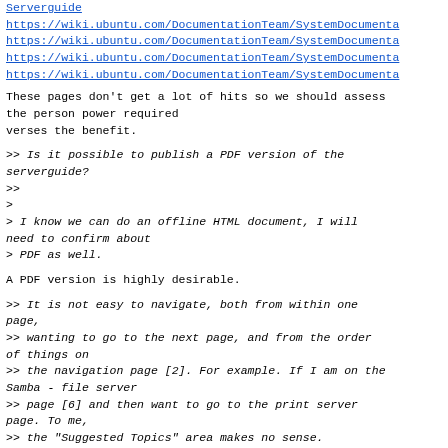Serverguide
https://wiki.ubuntu.com/DocumentationTeam/SystemDocumenta
https://wiki.ubuntu.com/DocumentationTeam/SystemDocumenta
https://wiki.ubuntu.com/DocumentationTeam/SystemDocumenta
https://wiki.ubuntu.com/DocumentationTeam/SystemDocumenta
These pages don't get a lot of hits so we should assess the person power required
verses the benefit.
>> Is it possible to publish a PDF version of the serverguide?
>>
>
> I know we can do an offline HTML document, I will need to confirm about
> PDF as well.
A PDF version is highly desirable.
>> It is not easy to navigate, both from within one page,
>> wanting to go to the next page, and from the order of things on
>> the navigation page [2]. For example. If I am on the Samba - file server
>> page [6] and then want to go to the print server page. To me,
>> the "Suggested Topics" area makes no sense.
>>